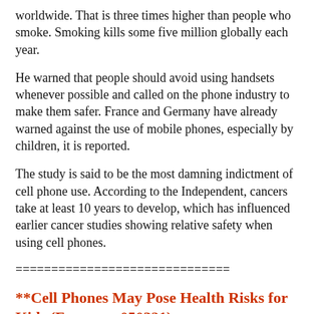worldwide. That is three times higher than people who smoke. Smoking kills some five million globally each year.
He warned that people should avoid using handsets whenever possible and called on the phone industry to make them safer. France and Germany have already warned against the use of mobile phones, especially by children, it is reported.
The study is said to be the most damning indictment of cell phone use. According to the Independent, cancers take at least 10 years to develop, which has influenced earlier cancer studies showing relative safety when using cell phones.
==============================
**Cell Phones May Pose Health Risks for Kids (Foxnews, 050321)
Parents should think twice before giving in to a middle-schooler's demands for a cell phone, some scientists say, because potential long-term health risks remain unclear.
Researchers have speculated for more than 10 years that the electromagnetic radiation emitted from cell phones may damage